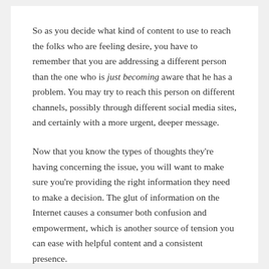So as you decide what kind of content to use to reach the folks who are feeling desire, you have to remember that you are addressing a different person than the one who is just becoming aware that he has a problem. You may try to reach this person on different channels, possibly through different social media sites, and certainly with a more urgent, deeper message.
Now that you know the types of thoughts they're having concerning the issue, you will want to make sure you're providing the right information they need to make a decision. The glut of information on the Internet causes a consumer both confusion and empowerment, which is another source of tension you can ease with helpful content and a consistent presence.